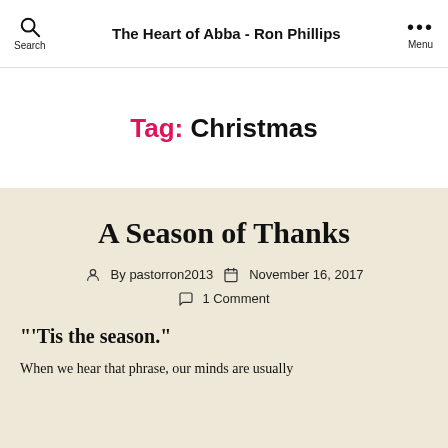The Heart of Abba - Ron Phillips
Tag: Christmas
A Season of Thanks
By pastorron2013  November 16, 2017  1 Comment
“‘Tis the season.”
When we hear that phrase, our minds are usually